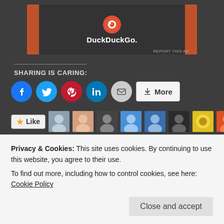[Figure (screenshot): DuckDuckGo advertisement banner with orange side borders and logo/wordmark on dark background with 'REPORT THIS AD' text]
SHARING IS CARING:
[Figure (infographic): Social sharing buttons: Facebook (blue circle), Twitter (blue circle), Pinterest (red circle), LinkedIn (teal circle), Email (gray circle), and a More button]
[Figure (infographic): Like button with star icon followed by 10 blogger avatar thumbnails]
64 bloggers like this.
Related
Privacy & Cookies: This site uses cookies. By continuing to use this website, you agree to their use.
To find out more, including how to control cookies, see here: Cookie Policy